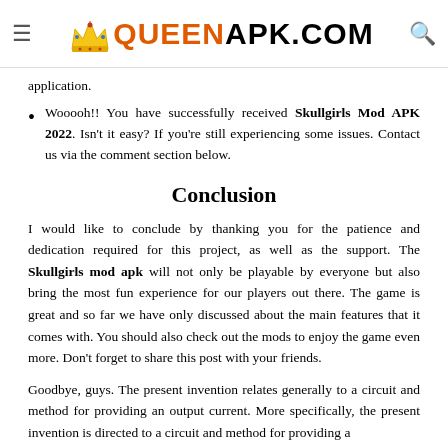QUEENAPK.COM
application.
Wooooh!! You have successfully received Skullgirls Mod APK 2022. Isn't it easy? If you're still experiencing some issues. Contact us via the comment section below.
Conclusion
I would like to conclude by thanking you for the patience and dedication required for this project, as well as the support. The Skullgirls mod apk will not only be playable by everyone but also bring the most fun experience for our players out there. The game is great and so far we have only discussed about the main features that it comes with. You should also check out the mods to enjoy the game even more. Don't forget to share this post with your friends.
Goodbye, guys. The present invention relates generally to a circuit and method for providing an output current. More specifically, the present invention is directed to a circuit and method for providing a solution to a current output.